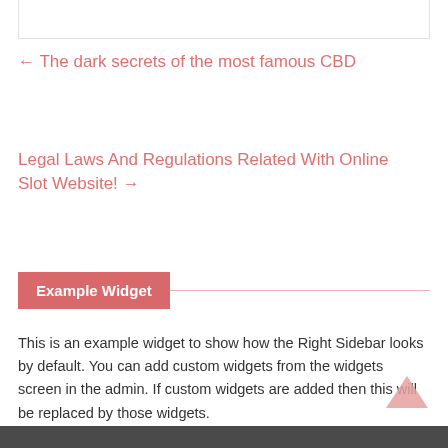← The dark secrets of the most famous CBD
Legal Laws And Regulations Related With Online Slot Website! →
Example Widget
This is an example widget to show how the Right Sidebar looks by default. You can add custom widgets from the widgets screen in the admin. If custom widgets are added then this will be replaced by those widgets.